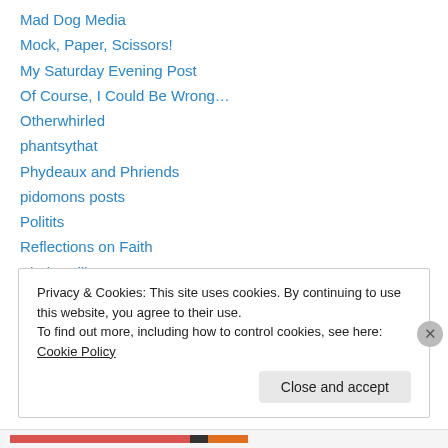Mad Dog Media
Mock, Paper, Scissors!
My Saturday Evening Post
Of Course, I Could Be Wrong…
Otherwhirled
phantsythat
Phydeaux and Phriends
pidomons posts
Politits
Reflections on Faith
Shakesville
SuziRiot – rants from the left
Teh Portly Dyke
Privacy & Cookies: This site uses cookies. By continuing to use this website, you agree to their use.
To find out more, including how to control cookies, see here: Cookie Policy